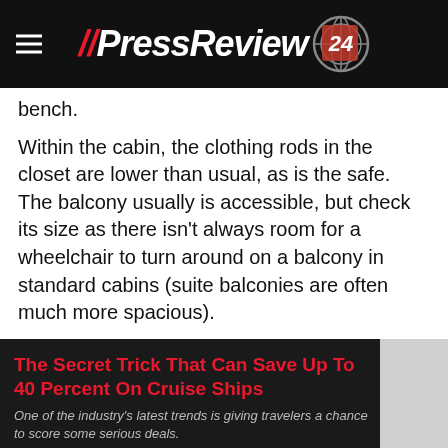PressReview24
bench.
Within the cabin, the clothing rods in the closet are lower than usual, as is the safe. The balcony usually is accessible, but check its size as there isn't always room for a wheelchair to turn around on a balcony in standard cabins (suite balconies are often much more spacious).
[Figure (other): Promotional link box with dark background: headline 'The Secret Trick That Can Save Up To 40 Percent On Cruise Ships' in red bold text, subtitle in italic grey 'One of the industry's latest trends is giving travelers a chance to score some serious deals.' with a thumbnail image on the right.]
Royal Caribbean says its accessible staterooms “range from 159 square feet to 298 square feet and offer a 5-